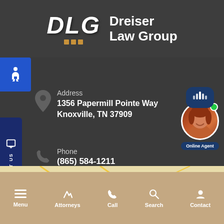[Figure (logo): DLG Dreiser Law Group logo with white bold italic letters and orange square dots]
[Figure (illustration): Blue accessibility/wheelchair icon button on left side]
[Figure (illustration): Dark blue TEXT US vertical sidebar button with phone icon]
Address
1356 Papermill Pointe Way
Knoxville, TN 37909
Phone
(865) 584-1211
Fax
865-584-1171
[Figure (photo): Online Agent widget showing smiling red-haired woman with green online indicator dot and sound wave icon]
[Figure (map): Partial map strip visible at bottom of main content area]
[Figure (infographic): Bottom navigation bar with Menu, Attorneys, Call, Search, Contact icons and labels]